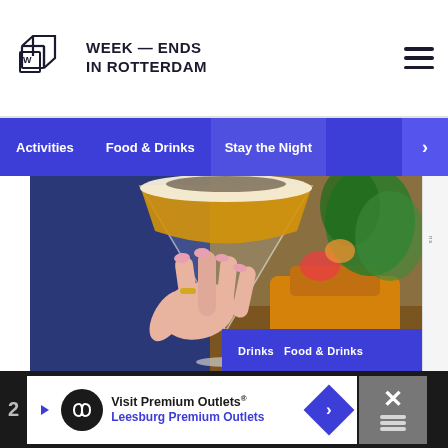WEEK — ENDS IN ROTTERDAM
Activities
Food & Drinks
Stay the Night
[Figure (photo): A hand holding a cocktail martini glass with an orange-yellow drink topped with foam, with greenery and an orange bag in the background.]
Drinks  Food & Drinks
[Figure (infographic): Advertisement banner: Visit Premium Outlets® Leesburg Premium Outlets with logo and navigation arrow.]